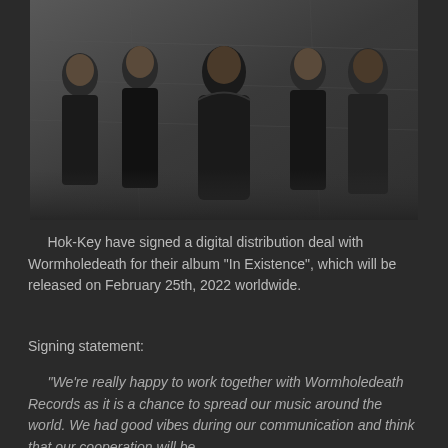[Figure (photo): Group photo of five band members dressed in black against a grey/concrete textured background. One woman on the far left, four men. Center person wearing a hoodie with band logo.]
Hok-Key have signed a digital distribution deal with Wormholedeath for their album "In Existence", which will be released on February 25th, 2022 worldwide.
Signing statement:
"We're really happy to work together with Wormholedeath Records as it is a chance to spread our music around the world. We had good vibes during our communication and think that our cooperation will be